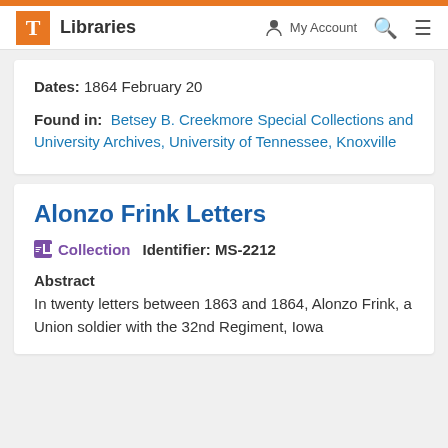T Libraries  My Account  Search  Menu
Dates: 1864 February 20
Found in: Betsey B. Creekmore Special Collections and University Archives, University of Tennessee, Knoxville
Alonzo Frink Letters
Collection  Identifier: MS-2212
Abstract
In twenty letters between 1863 and 1864, Alonzo Frink, a Union soldier with the 32nd Regiment, Iowa